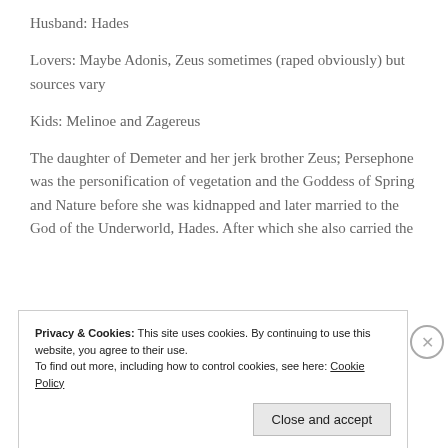Husband: Hades
Lovers: Maybe Adonis, Zeus sometimes (raped obviously) but sources vary
Kids: Melinoe and Zagereus
The daughter of Demeter and her jerk brother Zeus; Persephone was the personification of vegetation and the Goddess of Spring and Nature before she was kidnapped and later married to the God of the Underworld, Hades. After which she also carried the
Privacy & Cookies: This site uses cookies. By continuing to use this website, you agree to their use.
To find out more, including how to control cookies, see here: Cookie Policy
Close and accept